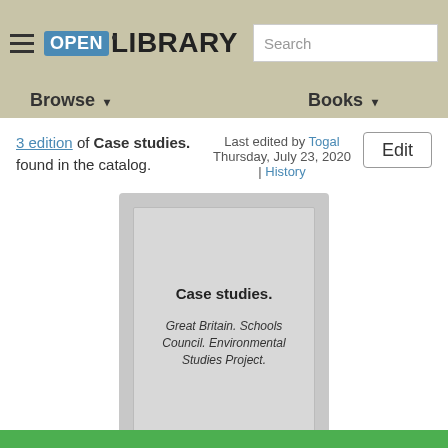Open Library — Browse | Books | Search
3 edition of Case studies. found in the catalog.
Last edited by Togal
Thursday, July 23, 2020 | History
[Figure (illustration): Book cover placeholder card showing title 'Case studies.' and author 'Great Britain. Schools Council. Environmental Studies Project.' on a grey card with border.]